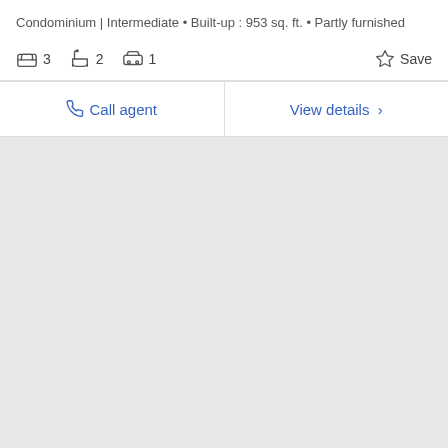Condominium | Intermediate • Built-up : 953 sq. ft. • Partly furnished
3 bedrooms, 2 bathrooms, 1 parking
Call agent | View details